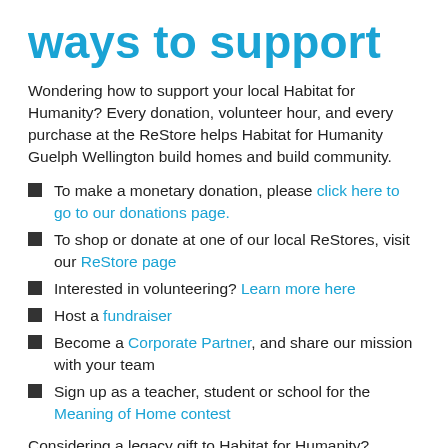ways to support
Wondering how to support your local Habitat for Humanity? Every donation, volunteer hour, and every purchase at the ReStore helps Habitat for Humanity Guelph Wellington build homes and build community.
To make a monetary donation, please click here to go to our donations page.
To shop or donate at one of our local ReStores, visit our ReStore page
Interested in volunteering? Learn more here
Host a fundraiser
Become a Corporate Partner, and share our mission with your team
Sign up as a teacher, student or school for the Meaning of Home contest
Considering a legacy gift to Habitat for Humanity?